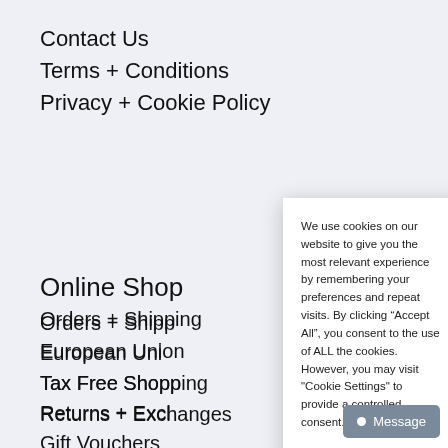Contact Us
Terms + Conditions
Privacy + Cookie Policy
Online Shop
Orders + Shipping
European Union
Tax Free Shopping
Returns + Exchanges
Gift Vouchers
Size Guide for Clothing
We use cookies on our website to give you the most relevant experience by remembering your preferences and repeat visits. By clicking “Accept All”, you consent to the use of ALL the cookies. However, you may visit "Cookie Settings" to provide a controlled consent.
Cookie Settings
Accept All
Message